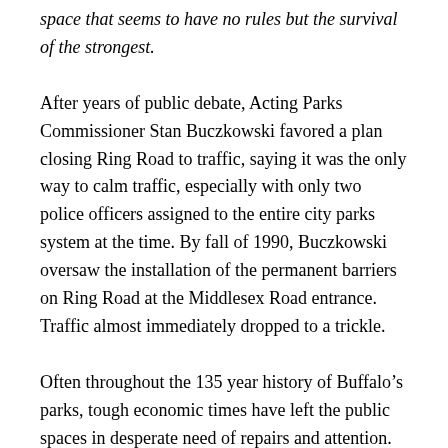space that seems to have no rules but the survival of the strongest.
After years of public debate, Acting Parks Commissioner Stan Buczkowski favored a plan closing Ring Road to traffic, saying it was the only way to calm traffic, especially with only two police officers assigned to the entire city parks system at the time. By fall of 1990, Buczkowski oversaw the installation of the permanent barriers on Ring Road at the Middlesex Road entrance. Traffic almost immediately dropped to a trickle.
Often throughout the 135 year history of Buffalo’s parks, tough economic times have left the public spaces in desperate need of repairs and attention. However, through budget crises of the 1990s and 2000s that left the City of Buffalo and Erie County under the fiscal screws of two separate Fiscal Control Authorities, Buffalo’s Parks consistently...